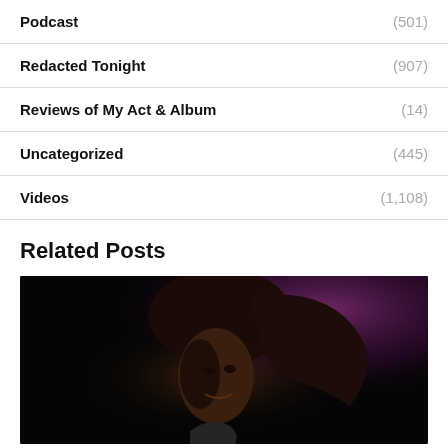Podcast (501)
Redacted Tonight (907)
Reviews of My Act & Album (14)
Uncategorized (445)
Videos (1,108)
Related Posts
[Figure (photo): A man with long dark hair performing on stage against a dark background with purple lighting, holding a microphone, smiling slightly.]